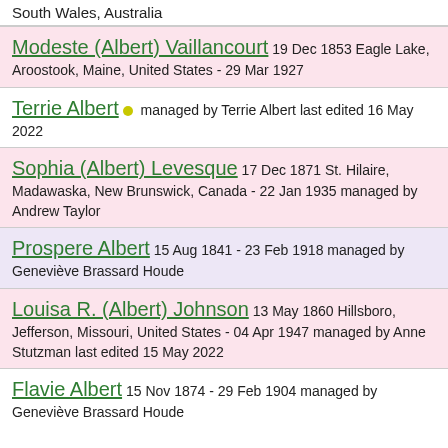South Wales, Australia
Modeste (Albert) Vaillancourt 19 Dec 1853 Eagle Lake, Aroostook, Maine, United States - 29 Mar 1927
Terrie Albert • managed by Terrie Albert last edited 16 May 2022
Sophia (Albert) Levesque 17 Dec 1871 St. Hilaire, Madawaska, New Brunswick, Canada - 22 Jan 1935 managed by Andrew Taylor
Prospere Albert 15 Aug 1841 - 23 Feb 1918 managed by Geneviève Brassard Houde
Louisa R. (Albert) Johnson 13 May 1860 Hillsboro, Jefferson, Missouri, United States - 04 Apr 1947 managed by Anne Stutzman last edited 15 May 2022
Flavie Albert 15 Nov 1874 - 29 Feb 1904 managed by Geneviève Brassard Houde